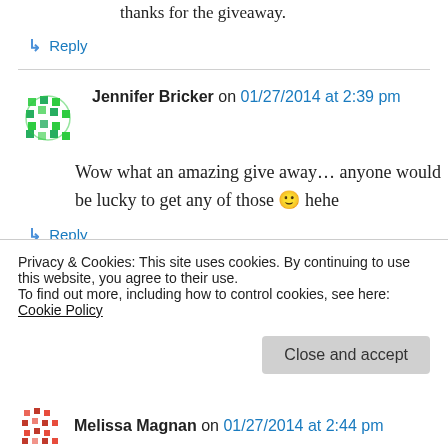thanks for the giveaway.
↳ Reply
Jennifer Bricker on 01/27/2014 at 2:39 pm
Wow what an amazing give away… anyone would be lucky to get any of those 🙂 hehe
↳ Reply
Denise Smith on 01/27/2014 at 2:40 pm
Privacy & Cookies: This site uses cookies. By continuing to use this website, you agree to their use. To find out more, including how to control cookies, see here: Cookie Policy
Close and accept
Melissa Magnan on 01/27/2014 at 2:44 pm